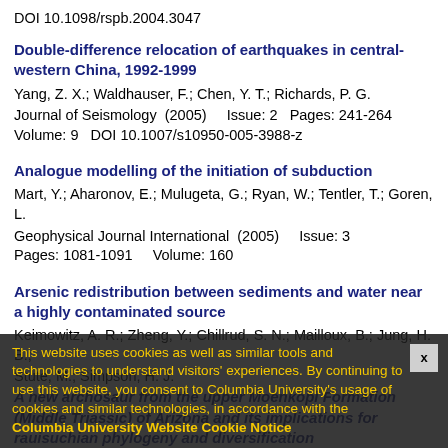DOI 10.1098/rspb.2004.3047
Double-difference relocation of earthquakes in central-western China, 1992-1999
Yang, Z. X.; Waldhauser, F.; Chen, Y. T.; Richards, P. G.
Journal of Seismology  (2005)    Issue: 2  Pages: 241-264
Volume: 9  DOI 10.1007/s10950-005-3988-z
Analogue modelling of the initiation of subduction
Mart, Y.; Aharonov, E.; Mulugeta, G.; Ryan, W.; Tentler, T.; Goren, L.
Geophysical Journal International  (2005)    Issue: 3
Pages: 1081-1091    Volume: 160
Arsenic redistribution between sediments and water near a highly contaminated source
Keimowitz, A. R.; Zheng, Y.; Chillrud, S. N.; Mailloux, B.; Jung, H. B.; Stute, M.; Simpson, H. J.
This website uses cookies as well as similar tools and technologies to understand visitors' experiences. By continuing to use this website, you consent to Columbia University's usage of cookies and similar technologies, in accordance with the Columbia University Website Cookie Notice
A new archosaur from the upper Moenkopi Formation (Middle Triassic) of Arizona and its implications for rauisuchian phylogeny and diversification